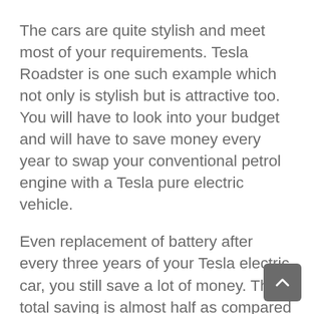The cars are quite stylish and meet most of your requirements. Tesla Roadster is one such example which not only is stylish but is attractive too. You will have to look into your budget and will have to save money every year to swap your conventional petrol engine with a Tesla pure electric vehicle.
Even replacement of battery after every three years of your Tesla electric car, you still save a lot of money. The total saving is almost half as compared to the conventional petrol engine.
Since the price of gasoline has been on rise for the past few years, and driving the traditional petrol engine car is going to be a costly affair, the best alternative is purchasing the Tesla EV.
If you start browsing on the web, you will